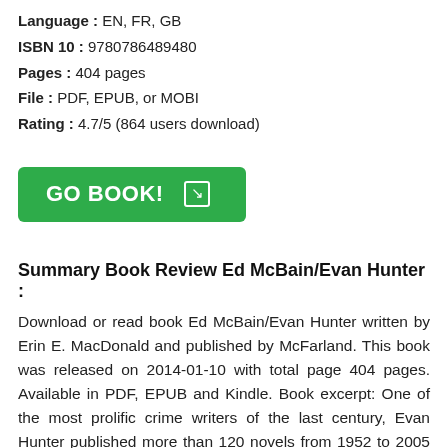Language : EN, FR, GB
ISBN 10 : 9780786489480
Pages : 404 pages
File : PDF, EPUB, or MOBI
Rating : 4.7/5 (864 users download)
[Figure (other): Green button with text GO BOOK! and an arrow icon]
Summary Book Review Ed McBain/Evan Hunter :
Download or read book Ed McBain/Evan Hunter written by Erin E. MacDonald and published by McFarland. This book was released on 2014-01-10 with total page 404 pages. Available in PDF, EPUB and Kindle. Book excerpt: One of the most prolific crime writers of the last century, Evan Hunter published more than 120 novels from 1952 to 2005 under a variety of pseudonymns. He also wrote several teleplays and screenplays,